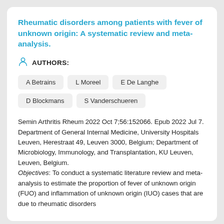Rheumatic disorders among patients with fever of unknown origin: A systematic review and meta-analysis.
AUTHORS:
A Betrains
L Moreel
E De Langhe
D Blockmans
S Vanderschueren
Semin Arthritis Rheum 2022 Oct 7;56:152066. Epub 2022 Jul 7.
Department of General Internal Medicine, University Hospitals Leuven, Herestraat 49, Leuven 3000, Belgium; Department of Microbiology, Immunology, and Transplantation, KU Leuven, Leuven, Belgium.
Objectives: To conduct a systematic literature review and meta-analysis to estimate the proportion of fever of unknown origin (FUO) and inflammation of unknown origin (IUO) cases that are due to rheumatic disorders